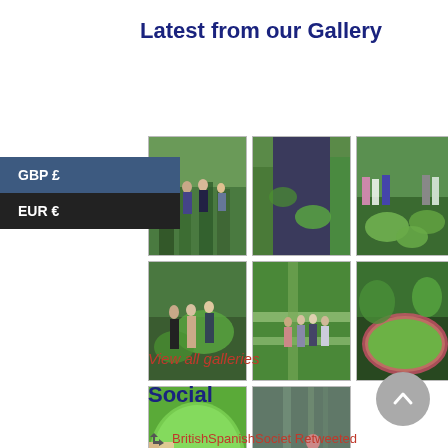Latest from our Gallery
[Figure (photo): Grid of 8 botanical garden photos showing visitors, plants, and giant water lily pads]
View all galleries
Social
BritishSpanishSociet Retweeted